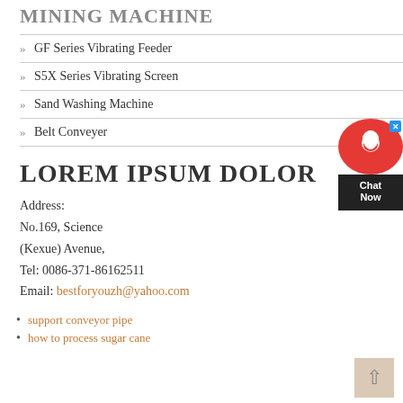MINING MACHINE
GF Series Vibrating Feeder
S5X Series Vibrating Screen
Sand Washing Machine
Belt Conveyer
LOREM IPSUM DOLOR
Address:
No.169, Science
(Kexue) Avenue,
Tel: 0086-371-86162511
Email: bestforyouzh@yahoo.com
support conveyor pipe
how to process sugar cane